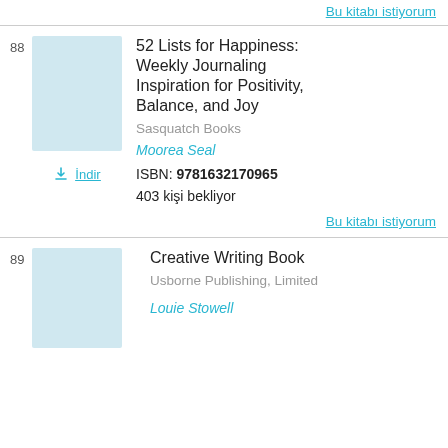Bu kitabı istiyorum
88
[Figure (illustration): Book cover thumbnail, light blue/grey placeholder]
52 Lists for Happiness: Weekly Journaling Inspiration for Positivity, Balance, and Joy
Sasquatch Books
Moorea Seal
İndir
ISBN: 9781632170965
403 kişi bekliyor
Bu kitabı istiyorum
89
Creative Writing Book
Usborne Publishing, Limited
Louie Stowell